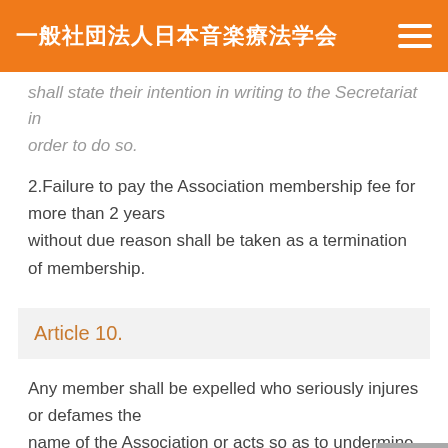一般社団法人日本音楽療法学会
shall state their intention in writing to the Secretariat in order to do so.
2.Failure to pay the Association membership fee for more than 2 years without due reason shall be taken as a termination of membership.
Article 10.
Any member shall be expelled who seriously injures or defames the name of the Association or acts so as to undermine its agenda. A motion carried by the ethics committee